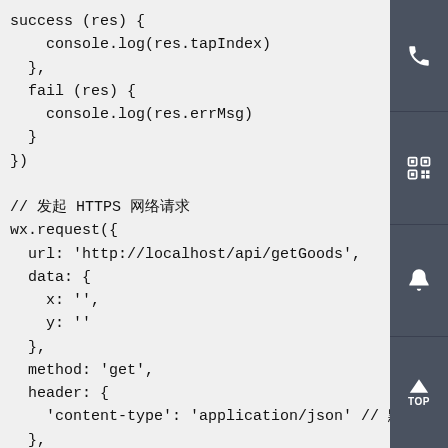success (res) {
    console.log(res.tapIndex)
  },
  fail (res) {
    console.log(res.errMsg)
  }
})

// 发起 HTTPS 网络请求
wx.request({
  url: 'http://localhost/api/getGoods',
  data: {
    x: '',
    y: ''
  },
  method: 'get',
  header: {
    'content-type': 'application/json' // 默认
  },
  success (res) {
    console.log(res.data)
  }
})
[Figure (infographic): Sidebar with four dark grey buttons: phone icon, QR code icon, Penguin/notification icon, and TOP (scroll to top) button]